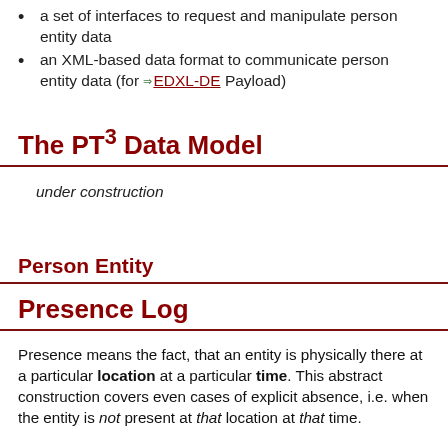a set of interfaces to request and manipulate person entity data
an XML-based data format to communicate person entity data (for ⇒EDXL-DE Payload)
The PT³ Data Model
under construction
Person Entity
Presence Log
Presence means the fact, that an entity is physically there at a particular location at a particular time. This abstract construction covers even cases of explicit absence, i.e. when the entity is not present at that location at that time.